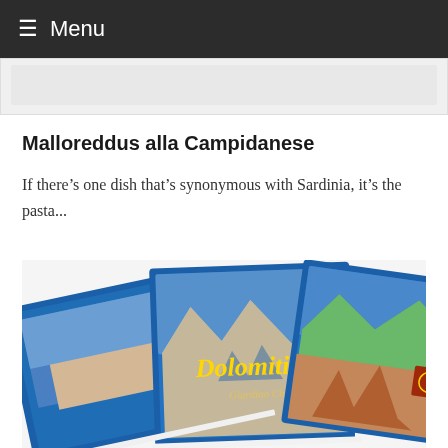≡ Menu
[Figure (screenshot): Partially visible image strip at top of page, cut off, showing a grey/white thumbnail area]
Malloreddus alla Campidanese
If there's one dish that's synonymous with Sardinia, it's the pasta...
[Figure (photo): Stack of travel books about the Dolomiti (Dolomites) mountains, with blue covers featuring mountain landscape photographs and the title 'Dolomiti' written in gold script]